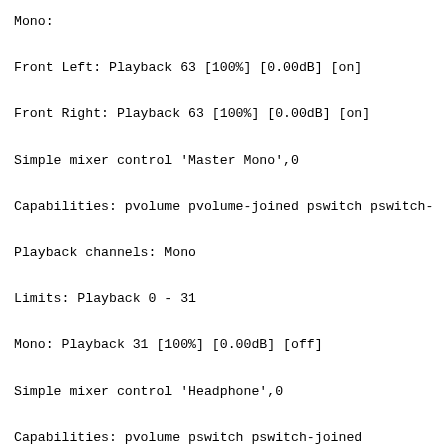Mono:
Front Left: Playback 63 [100%] [0.00dB] [on]
Front Right: Playback 63 [100%] [0.00dB] [on]
Simple mixer control 'Master Mono',0
Capabilities: pvolume pvolume-joined pswitch pswitch-joi
Playback channels: Mono
Limits: Playback 0 - 31
Mono: Playback 31 [100%] [0.00dB] [off]
Simple mixer control 'Headphone',0
Capabilities: pvolume pswitch pswitch-joined
Playback channels: Front Left - Front Right
Limits: Playback 0 - 31
Mono:
Front Left: Playback 31 [100%] [0.00dB] [off]
Front Right: Playback 31 [100%] [0.00dB] [off]